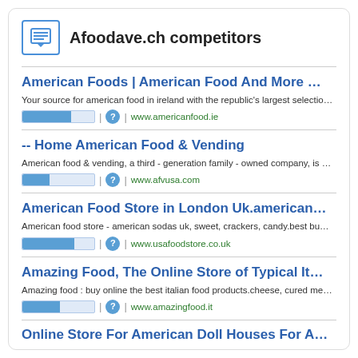Afoodave.ch competitors
American Foods | American Food And More …
Your source for american food in ireland with the republic's largest selectio…
www.americanfood.ie
-- Home American Food & Vending
American food & vending, a third - generation family - owned company, is …
www.afvusa.com
American Food Store in London Uk.american…
American food store - american sodas uk, sweet, crackers, candy.best bu…
www.usafoodstore.co.uk
Amazing Food, The Online Store of Typical It…
Amazing food : buy online the best italian food products.cheese, cured me…
www.amazingfood.it
Online Store For American Doll Houses For A…